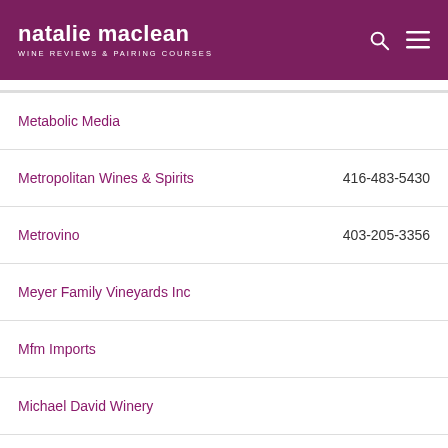natalie maclean — WINE REVIEWS & PAIRING COURSES
Metabolic Media
Metropolitan Wines & Spirits — 416-483-5430
Metrovino — 403-205-3356
Meyer Family Vineyards Inc
Mfm Imports
Michael David Winery
Miguel Torres Canada Ltd. — 416-953-8757
Mih Selections
Mike Todd / Coffin Ridge
Millesimes Cellar — 778 288 2558
Miner Family Winery